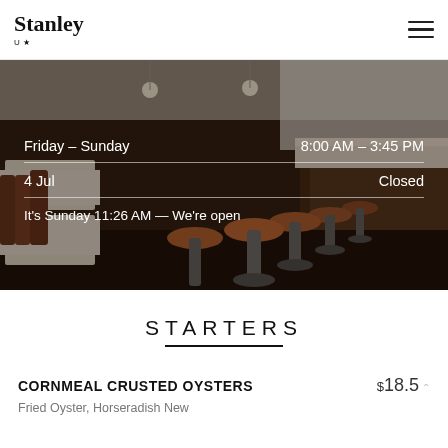Stanley — restaurant logo and navigation
[Figure (photo): Interior photo of Stanley restaurant showing rows of bar stools and wooden bar counter]
Friday – Sunday   8:00 AM – 3:45 PM
4 Jul   Closed
It's Sunday 11:26 AM — We're open
STARTERS
CORNMEAL CRUSTED OYSTERS   $18.5
Fried Oyster, Horseradish New